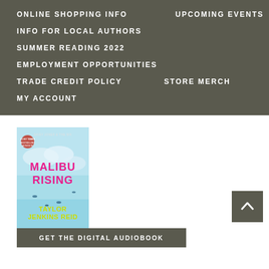ONLINE SHOPPING INFO
UPCOMING EVENTS
INFO FOR LOCAL AUTHORS
SUMMER READING 2022
EMPLOYMENT OPPORTUNITIES
TRADE CREDIT POLICY
STORE MERCH
MY ACCOUNT
[Figure (illustration): Book cover of Malibu Rising by Taylor Jenkins Reid. Cyan/light blue background with people surfing, pink title text and yellow author name.]
GET THE DIGITAL AUDIOBOOK